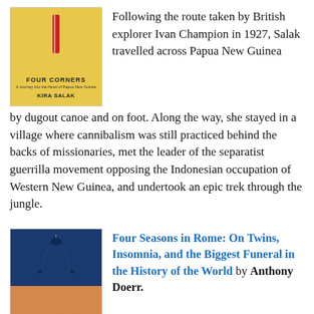[Figure (photo): Book cover of 'Four Corners: A Journey into the Heart of Papua New Guinea' by Kira Salak, with yellow background and red ribbon decoration]
Following the route taken by British explorer Ivan Champion in 1927, Salak travelled across Papua New Guinea by dugout canoe and on foot. Along the way, she stayed in a village where cannibalism was still practiced behind the backs of missionaries, met the leader of the separatist guerrilla movement opposing the Indonesian occupation of Western New Guinea, and undertook an epic trek through the jungle.
[Figure (photo): Book cover of 'Four Seasons in Rome' with blue and orange halves, dome silhouette, and title text]
Four Seasons in Rome: On Twins, Insomnia, and the Biggest Funeral in the History of the World by Anthony Doerr.